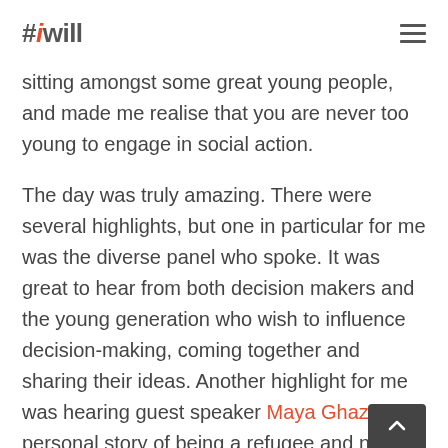#iwill
sitting amongst some great young people, and made me realise that you are never too young to engage in social action.
The day was truly amazing. There were several highlights, but one in particular for me was the diverse panel who spoke. It was great to hear from both decision makers and the young generation who wish to influence decision-making, coming together and sharing their ideas. Another highlight for me was hearing guest speaker Maya Ghazal's personal story of being a refugee and now being a supporter of